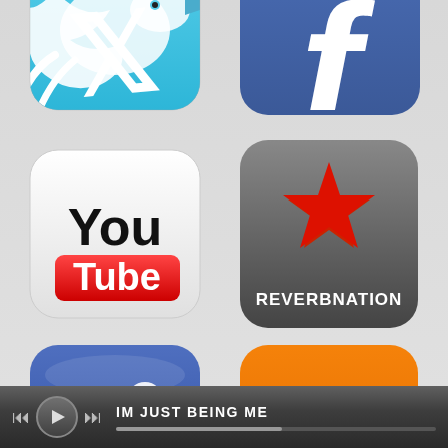[Figure (illustration): Social media and music platform app icons arranged in a grid: Twitter (blue bird icon, partially cropped at top), Facebook (blue 'f' icon, partially cropped at top), YouTube (white/red logo), ReverbNation (dark gray with red star), MySpace (blue with white people icons), SoundCloud (orange with white cloud/waveform logo), and a music player bar at bottom showing 'IM JUST BEING ME' with playback controls and progress bar.]